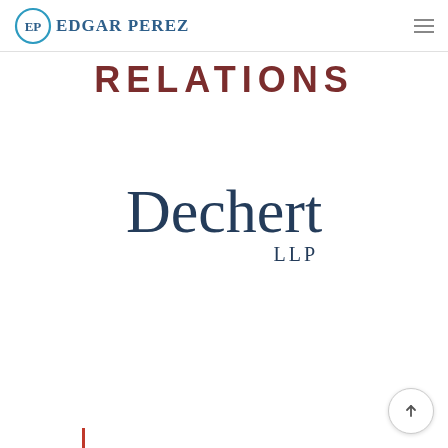Edgar Perez (EP logo with navigation)
RELATIONS
[Figure (logo): Dechert LLP logo in dark navy blue, large serif font with 'Dechert' on top and 'LLP' right-aligned beneath]
[Figure (other): Red vertical bar at bottom left, partial view of next section]